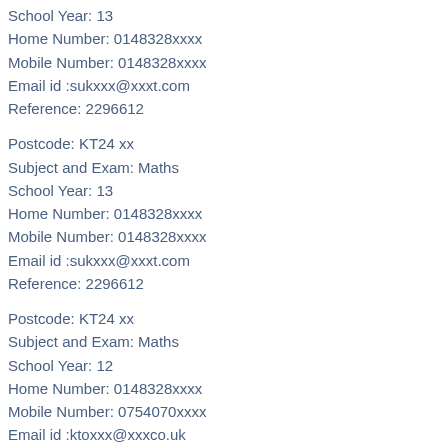School Year: 13
Home Number: 0148328xxxx
Mobile Number: 0148328xxxx
Email id :sukxxx@xxxt.com
Reference: 2296612
Postcode: KT24 xx
Subject and Exam: Maths
School Year: 13
Home Number: 0148328xxxx
Mobile Number: 0148328xxxx
Email id :sukxxx@xxxt.com
Reference: 2296612
Postcode: KT24 xx
Subject and Exam: Maths
School Year: 12
Home Number: 0148328xxxx
Mobile Number: 0754070xxxx
Email id :ktoxxx@xxxco.uk
Reference: 2248812
Postcode: KT24 xx
Subject and Exam: Maths
School Year: 12